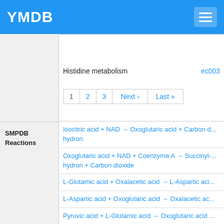YMDB
Histidine metabolism   ec003
1   2   3   Next ›   Last »
SMPDB Reactions
Isocitric acid + NAD → Oxoglutaric acid + Carbon d... hydron
Oxoglutaric acid + NAD + Coenzyme A → Succinyl-... hydron + Carbon dioxide
L-Glutamic acid + Oxalacetic acid → L-Aspartic aci...
L-Aspartic acid + Oxoglutaric acid → Oxalacetic ac...
Pyruvic acid + L-Glutamic acid → Oxoglutaric acid ...